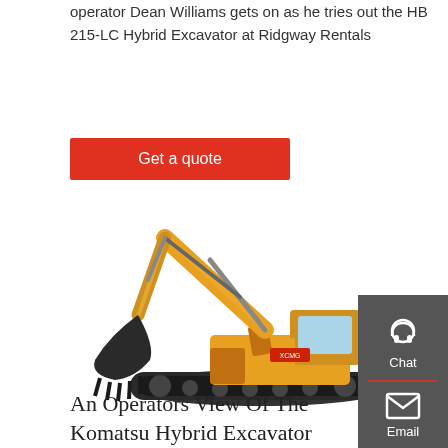operator Dean Williams gets on as he tries out the HB 215-LC Hybrid Excavator at Ridgway Rentals
[Figure (other): Red button/link: Get a quote]
[Figure (photo): Large yellow XCMG crawler excavator on white background, shown in profile with arm extended and bucket lowered]
[Figure (other): Dark grey sidebar with Chat (headset icon), Email (envelope icon), and Contact (speech bubble icon) options, separated by red dividers]
An Operators View Of The Komatsu Hybrid Excavator